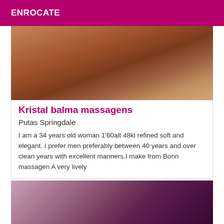ENROCATE
[Figure (photo): Close-up photo with warm brown tones]
Kristal balma massagens
Putas Springdale
I am a 34 years old woman 1'60alt 48kl refined soft and elegant. I prefer men preferably between 40 years and over clean years with excellent manners.I make from Bonn massagen A very lively
[Figure (photo): Close-up photo with purple and pink fabric tones]